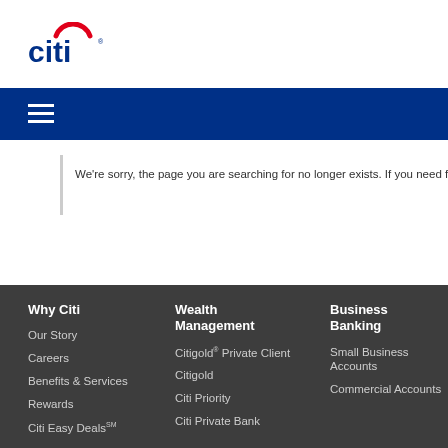[Figure (logo): Citi bank logo with red arc above 'citi' text in dark blue]
[Figure (other): Navy blue navigation bar with hamburger menu icon (three white horizontal lines)]
We're sorry, the page you are searching for no longer exists. If you need furth
Why Citi
Our Story
Careers
Benefits & Services
Rewards
Citi Easy Deals℠
Wealth Management
Citigold® Private Client
Citigold
Citi Priority
Citi Private Bank
Business Banking
Small Business Accounts
Commercial Accounts